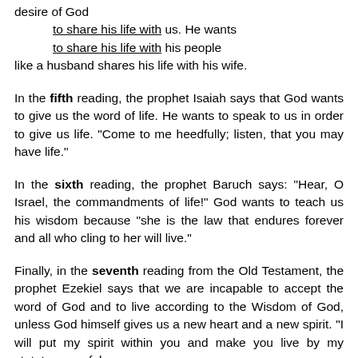desire of God
    to share his life with us. He wants
    to share his life with his people
like a husband shares his life with his wife.
In the fifth reading, the prophet Isaiah says that God wants to give us the word of life. He wants to speak to us in order to give us life. “Come to me heedfully; listen, that you may have life.”
In the sixth reading, the prophet Baruch says: “Hear, O Israel, the commandments of life!” God wants to teach us his wisdom because “she is the law that endures forever and all who cling to her will live.”
Finally, in the seventh reading from the Old Testament, the prophet Ezekiel says that we are incapable to accept the word of God and to live according to the Wisdom of God, unless God himself gives us a new heart and a new spirit. “I will put my spirit within you and make you live by my statutes, careful